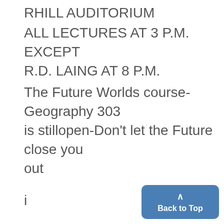RHILL AUDITORIUM
ALL LECTURES AT 3 P.M. EXCEPT R.D. LAING AT 8 P.M.
The Future Worlds course-Geography 303 is stillopen-Don't let the Future close you out
i
L
solv
men
and
per